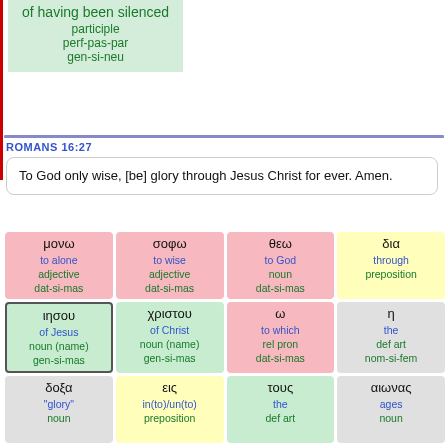of having been silenced
participle
perf-pas-par
gen-si-neu
ROMANS 16:27
To God only wise, [be] glory through Jesus Christ for ever. Amen.
[Figure (infographic): Greek word analysis grid for Romans 16:27 showing Greek words with their English translations, parts of speech, and morphological codes in colored boxes]
μονω / to alone / adjective / dat-si-mas | σοφω / to wise / adjective / dat-si-mas | θεω / to God / noun / dat-si-mas | δια / through / preposition | ιησου / of Jesus / noun (name) / gen-si-mas | χριστου / of Christ / noun (name) / gen-si-mas | ω / to which / rel pron / dat-si-mas | η / the / def art / nom-si-fem | δοξα / "glory" / noun | εις / in(to)/un(to) / preposition | τους / the / def art | αιωνας / ages / noun